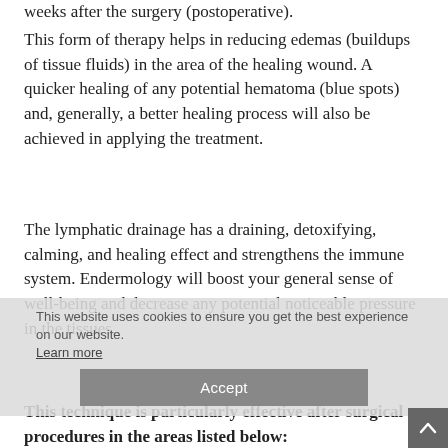weeks after the surgery (postoperative).
This form of therapy helps in reducing edemas (buildups of tissue fluids) in the area of the healing wound. A quicker healing of any potential hematoma (blue spots) and, generally, a better healing process will also be achieved in applying the treatment.
The lymphatic drainage has a draining, detoxifying, calming, and healing effect and strengthens the immune system. Endermology will boost your general sense of well-being and decrease any potential noticeable pressure in the tissues.
This technique is particularly effective after surgical procedures in the areas listed below: